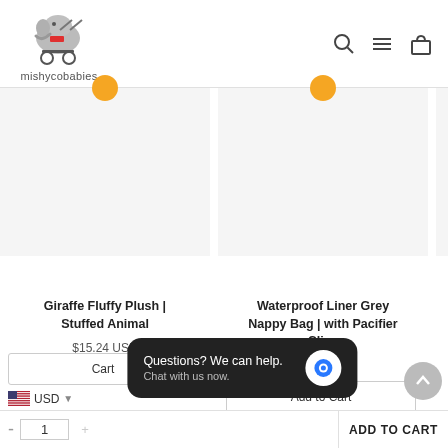[Figure (logo): Mishycobabies logo: elephant in a baby stroller, text 'mishycobabies' below]
Giraffe Fluffy Plush | Stuffed Animal
$15.24 USD
Waterproof Liner Grey Nappy Bag | with Pacifier Clips
$32.99 USD
Add to Cart
USD
Cart
Questions? We can help.
Chat with us now.
1
ADD TO CART